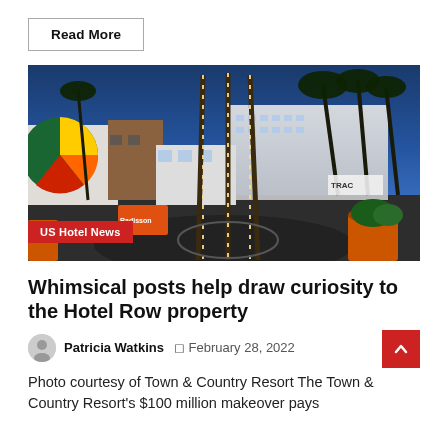Read More
[Figure (photo): Nighttime exterior photo of Hotel Row / Town & Country Resort with illuminated palm trees, a roundabout driveway, hotel building in background, and orange planters. A 'Radisson' sign is visible. Label overlay reads 'US Hotel News'.]
US Hotel News
Whimsical posts help draw curiosity to the Hotel Row property
Patricia Watkins  February 28, 2022
Photo courtesy of Town & Country Resort The Town & Country Resort's $100 million makeover pays